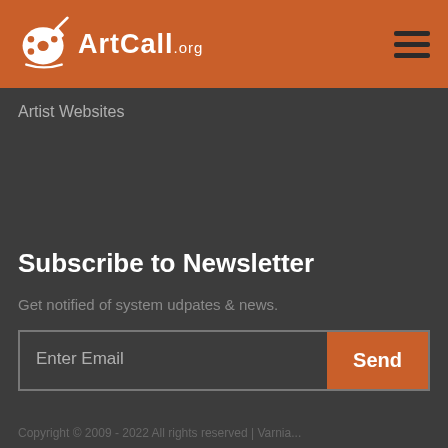ArtCall.org
Artist Websites
Subscribe to Newsletter
Get notified of system udpates & news.
Enter Email  Send
Copyright © 2009 - 2022 All rights reserved | Varnia...